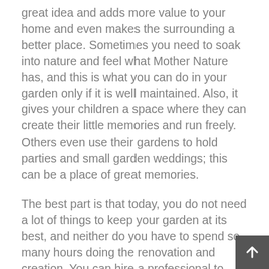great idea and adds more value to your home and even makes the surrounding a better place. Sometimes you need to soak into nature and feel what Mother Nature has, and this is what you can do in your garden only if it is well maintained. Also, it gives your children a space where they can create their little memories and run freely. Others even use their gardens to hold parties and small garden weddings; this can be a place of great memories.
The best part is that today, you do not need a lot of things to keep your garden at its best, and neither do you have to spend so many hours doing the renovation and creation. You can hire a professional to help you quickly put your garden in the right place and how you need it. They can do more, from trimming down your trees to stump removal and every other vast and small task you might need to be accomplished in the garden.